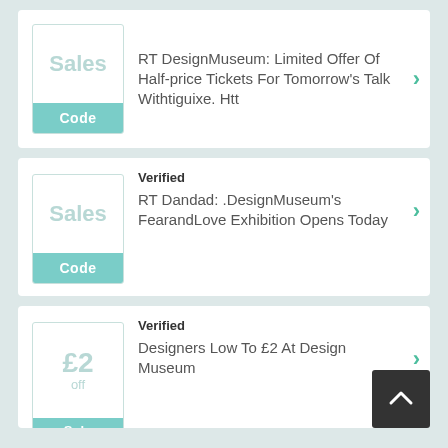RT DesignMuseum: Limited Offer Of Half-price Tickets For Tomorrow's Talk Withtiguixe. Htt
Verified
RT Dandad: .DesignMuseum's FearandLove Exhibition Opens Today
Verified
Designers Low To £2 At Design Museum